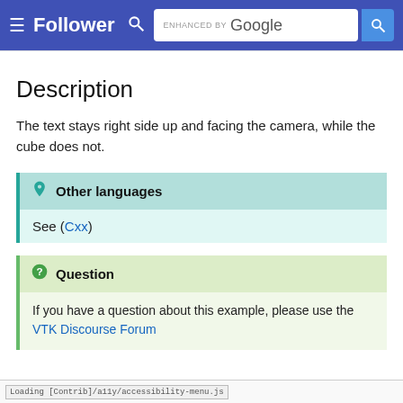Follower — ENHANCED BY Google search bar
Description
The text stays right side up and facing the camera, while the cube does not.
Other languages
See (Cxx)
Question
If you have a question about this example, please use the VTK Discourse Forum
Loading [Contrib]/a11y/accessibility-menu.js